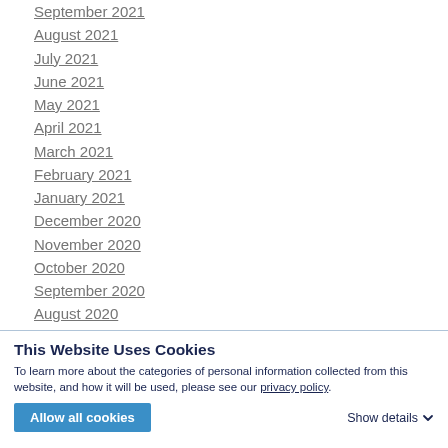September 2021
August 2021
July 2021
June 2021
May 2021
April 2021
March 2021
February 2021
January 2021
December 2020
November 2020
October 2020
September 2020
August 2020
July 2020
June 2020
This Website Uses Cookies
To learn more about the categories of personal information collected from this website, and how it will be used, please see our privacy policy.